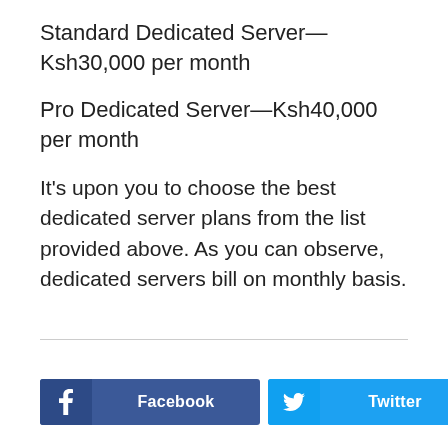Standard Dedicated Server—Ksh30,000 per month
Pro Dedicated Server—Ksh40,000 per month
It's upon you to choose the best dedicated server plans from the list provided above. As you can observe, dedicated servers bill on monthly basis.
Facebook | Twitter | +